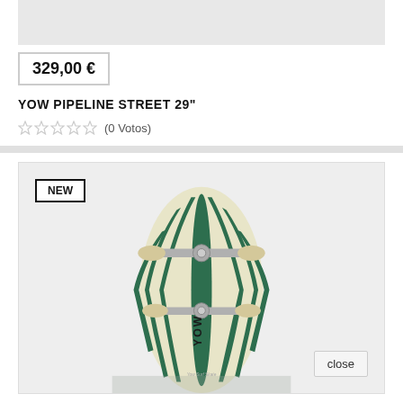329,00 €
YOW PIPELINE STREET 29"
(0 Votos)
[Figure (photo): YOW skateboard/surfskate product photo showing top view of the board with green and cream zebra-stripe pattern, trucks visible, YOW branding on deck. Badge labeled NEW in top-left corner.]